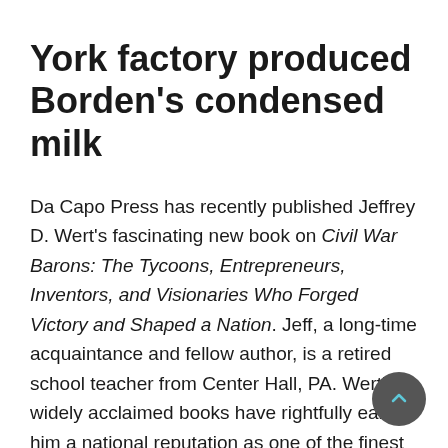York factory produced Borden's condensed milk
Da Capo Press has recently published Jeffrey D. Wert's fascinating new book on Civil War Barons: The Tycoons, Entrepreneurs, Inventors, and Visionaries Who Forged Victory and Shaped a Nation. Jeff, a long-time acquaintance and fellow author, is a retired school teacher from Center Hall, PA. Wert's widely acclaimed books have rightfully earned him a national reputation as one of the finest Civil War writers of our generation. In this work, he provides snapshots of dozens of leading businessmen in the North whose genius, persistence, and vision of "find a need and fill